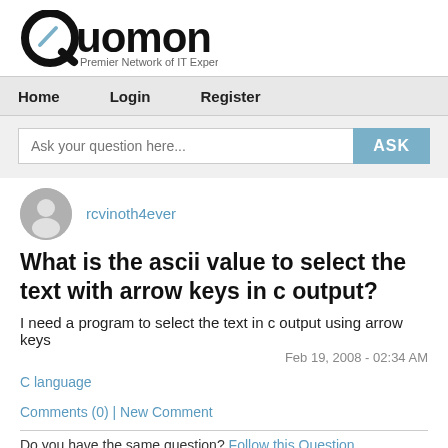[Figure (logo): Quomon logo with Q letter and tagline 'Premier Network of IT Experts']
Home  Login  Register
Ask your question here...  ASK
rcvinoth4ever
What is the ascii value to select the text with arrow keys in c output?
I need a program to select the text in c output using arrow keys
Feb 19, 2008 - 02:34 AM
C language
Comments (0) | New Comment
Do you have the same question? Follow this Question